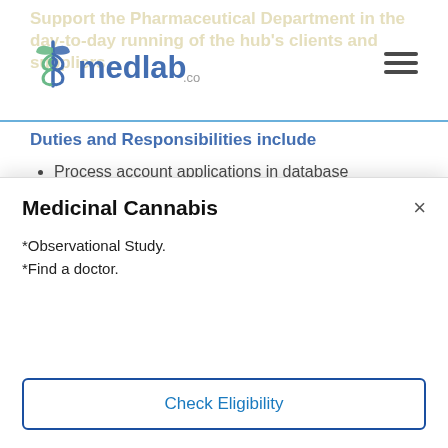Support the Pharmaceutical Department in the day-to-day running of the hub's clients and suppliers
Duties and Responsibilities include
Process account applications in database
Invoicing and processing of orders and finalising in system
Answer incoming phone calls and respond to queries
Respond to general enquiries via email.
Assisting with day to day activities within the
Medicinal Cannabis
*Observational Study.
*Find a doctor.
Check Eligibility